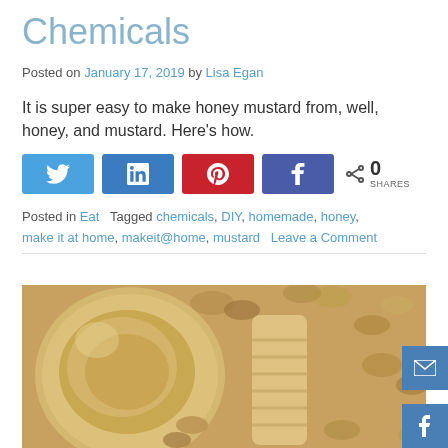Chemicals
Posted on January 17, 2019 by Lisa Egan
It is super easy to make honey mustard from, well, honey, and mustard. Here’s how.
[Figure (infographic): Social sharing buttons: Twitter (blue), LinkedIn (dark blue), Pinterest (red), Facebook (dark blue), and a share count showing 0 SHARES]
Posted in Eat   Tagged chemicals, DIY, homemade, honey, make it at home, makeit@home, mustard   Leave a Comment
[Figure (photo): Close-up photo of a jar of peanut butter surrounded by peanuts]